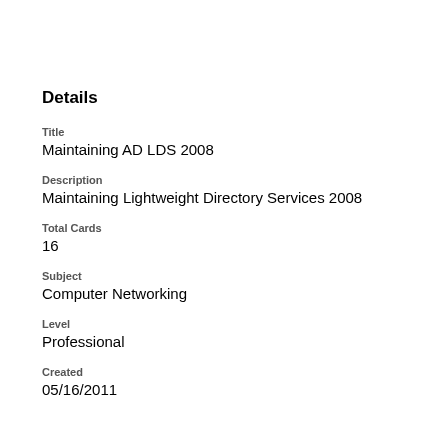Details
Title
Maintaining AD LDS 2008
Description
Maintaining Lightweight Directory Services 2008
Total Cards
16
Subject
Computer Networking
Level
Professional
Created
05/16/2011